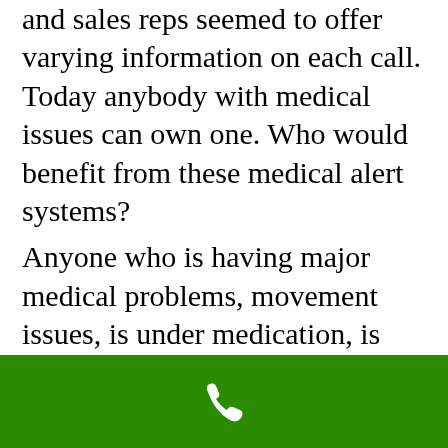Buying medical alert system is challenging and sales reps seemed to offer varying information on each call. Today anybody with medical issues can own one. Who would benefit from these medical alert systems? Anyone who is having major medical problems, movement issues, is under medication, is afraid to remain alone at home fall in this category. More and more teenagers are using med alert systems. While searching their online store and more rights...
[Figure (other): Green bar at the bottom with a white phone/call icon in the center]